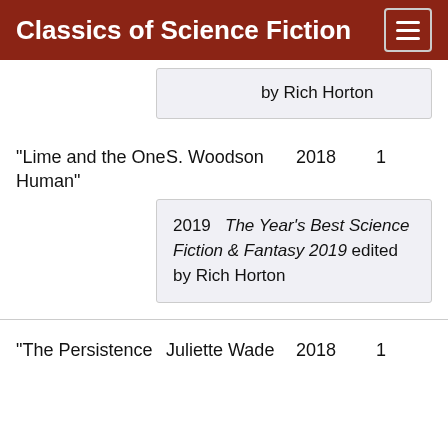Classics of Science Fiction
by Rich Horton
"Lime and the One Human"	S. Woodson	2018	1
2019  The Year's Best Science Fiction & Fantasy 2019 edited by Rich Horton
"The Persistence